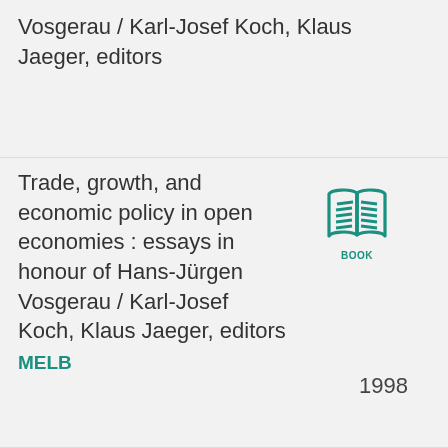Vosgerau / Karl-Josef Koch, Klaus Jaeger, editors
Trade, growth, and economic policy in open economies : essays in honour of Hans-Jürgen Vosgerau / Karl-Josef Koch, Klaus Jaeger, editors
[Figure (illustration): Book icon in teal color with label BOOK below it]
1998
MELB
337 Koh/Gea
: Global economics : an introductory course / Gernot